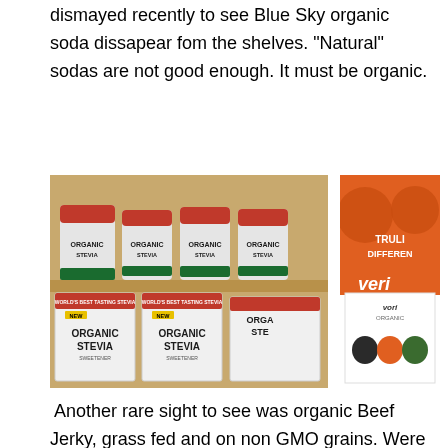dismayed recently to see Blue Sky organic soda dissapear fom the shelves. "Natural" sodas are not good enough. It must be organic.
[Figure (photo): Shelf with multiple cans and boxes of SweetLeaf Organic Stevia product]
[Figure (photo): Veri Organic brand display with orange packaging and chocolates, text 'TRULI DIFFERENT']
Another rare sight to see was organic Beef Jerky, grass fed and on non GMO grains. Were this brand available across the nation, snacking would be safer and free of toxins. Belinski's sausage was delicious and contained only a handful of wholesome ingredients.
[Figure (photo): Green button/icon with bracket symbols]
[Figure (photo): Partially visible photo at bottom right]